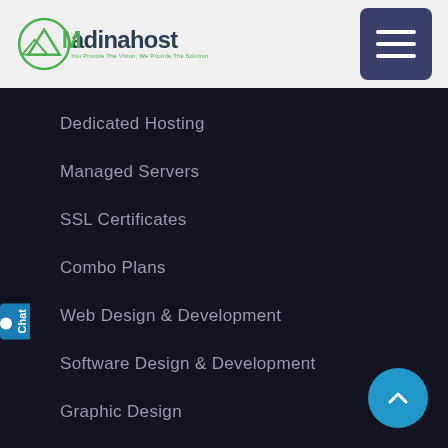[Figure (logo): Madinahost logo with circular mountain icon and tagline 'You Provide The Vision, We Provide The Solution']
Dedicated Hosting
Managed Servers
SSL Certificates
Combo Plans
Web Design & Development
Software Design & Development
Graphic Design
Infrastructure
Data Center
Hosting Security
24 x 7 Servers Monitoring
Backup and Recovery